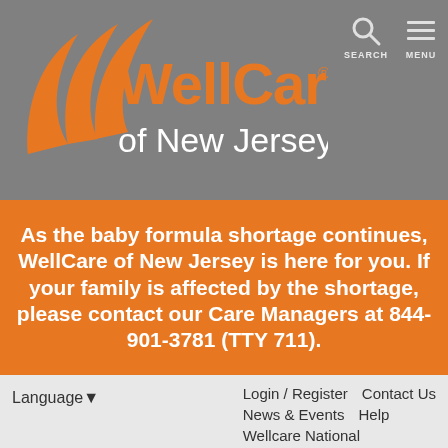[Figure (logo): WellCare of New Jersey logo with orange leaf/wing graphic and gray background, plus Search and Menu icons in top right]
As the baby formula shortage continues, WellCare of New Jersey is here for you. If your family is affected by the shortage, please contact our Care Managers at 844-901-3781 (TTY 711).
Language ▾
Login / Register
Contact Us
News & Events
Help
Wellcare National
Resources
Contact Us